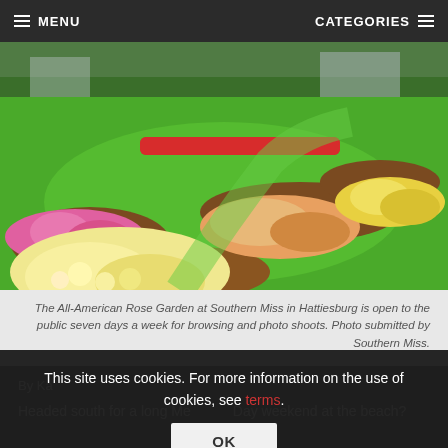MENU   CATEGORIES
[Figure (photo): Aerial view of the All-American Rose Garden at Southern Miss in Hattiesburg, showing rows of pink, red, yellow and cream roses in manicured garden beds surrounded by bright green lawn, with trees and buildings in background.]
The All-American Rose Garden at Southern Miss in Hattiesburg is open to the public seven days a week for browsing and photo shoots. Photo submitted by Southern Miss.
By Ka
Headed south for a long Memorial Day weekend at the beach?
This site uses cookies. For more information on the use of cookies, see terms.